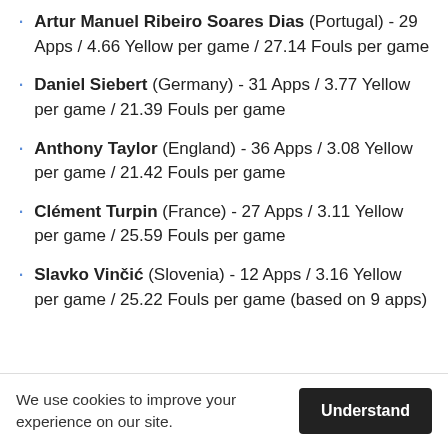Artur Manuel Ribeiro Soares Dias (Portugal) - 29 Apps / 4.66 Yellow per game / 27.14 Fouls per game
Daniel Siebert (Germany) - 31 Apps / 3.77 Yellow per game / 21.39 Fouls per game
Anthony Taylor (England) - 36 Apps / 3.08 Yellow per game / 21.42 Fouls per game
Clément Turpin (France) - 27 Apps / 3.11 Yellow per game / 25.59 Fouls per game
Slavko Vinčić (Slovenia) - 12 Apps / 3.16 Yellow per game / 25.22 Fouls per game (based on 9 apps)
We use cookies to improve your experience on our site.
Understand